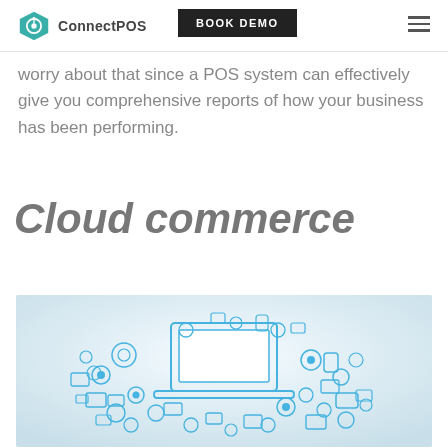ConnectPOS | BOOK DEMO
worry about that since a POS system can effectively give you comprehensive reports of how your business has been performing.
Cloud commerce
[Figure (illustration): Cloud commerce illustration showing a cloud shape made of various technology icons including devices, apps, and digital services rendered in blue on a light blue-grey gradient background.]